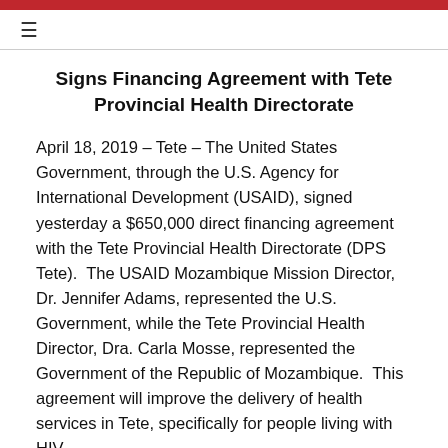≡
Signs Financing Agreement with Tete Provincial Health Directorate
April 18, 2019 – Tete – The United States Government, through the U.S. Agency for International Development (USAID), signed yesterday a $650,000 direct financing agreement with the Tete Provincial Health Directorate (DPS Tete).  The USAID Mozambique Mission Director, Dr. Jennifer Adams, represented the U.S. Government, while the Tete Provincial Health Director, Dra. Carla Mosse, represented the Government of the Republic of Mozambique.  This agreement will improve the delivery of health services in Tete, specifically for people living with HIV.